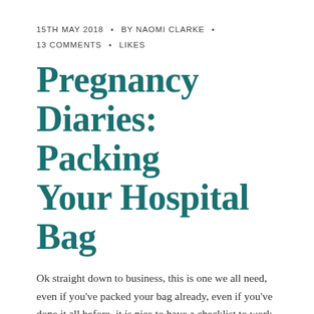15TH MAY 2018 • BY NAOMI CLARKE • 13 COMMENTS • LIKES
Pregnancy Diaries: Packing Your Hospital Bag
Ok straight down to business, this is one we all need, even if you've packed your bag already, even if you've done it all before, it is nice to have a checklist to work off. With Anabelle Ivy would you believe I wrote and published a blog post on packing your bag THE DAY BEFORE she